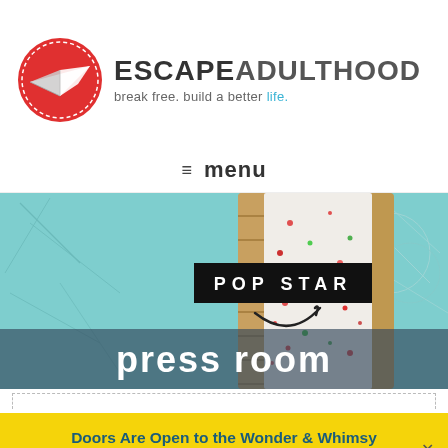[Figure (logo): Escape Adulthood logo: red circle with paper airplane icon, bold text ESCAPE ADULTHOOD, tagline break free. build a better life.]
≡ menu
[Figure (photo): Hero banner image: colorful pop tart / pastry item with turquoise background, bamboo frames on sides, confetti sprinkles. Black banner with POP STAR text and a swoosh below it. Dark overlay at bottom with white text 'press room'.]
press room
Doors Are Open to the Wonder & Whimsy Society!  Learn More